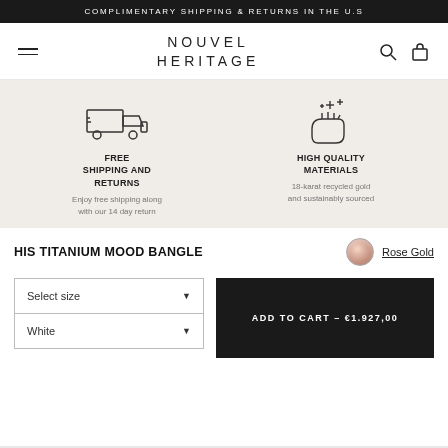COMPLIMENTARY SHIPPING & RETURNS IN THE U.S
NOUVEL HERITAGE
[Figure (illustration): Delivery truck icon and sparkle/hand icon representing free shipping and high quality materials features]
FREE SHIPPING AND RETURNS
Enjoy free shipping along with our 14 day return
HIGH QUALITY MATERIALS
18-karat recycled gold and sustainably sourced
HIS TITANIUM MOOD BANGLE
Rose Gold
Select size
White
ADD TO CART – €1.927,00